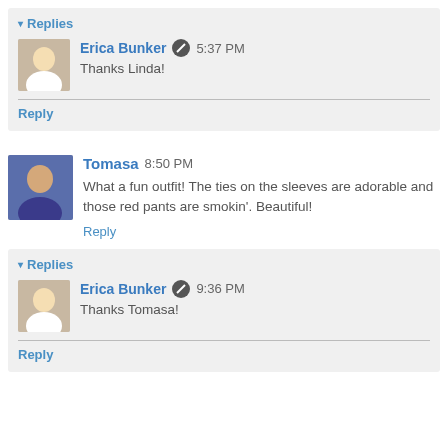▾ Replies
Erica Bunker [edit icon] 5:37 PM
Thanks Linda!
Reply
Tomasa 8:50 PM
What a fun outfit! The ties on the sleeves are adorable and those red pants are smokin'. Beautiful!
Reply
▾ Replies
Erica Bunker [edit icon] 9:36 PM
Thanks Tomasa!
Reply